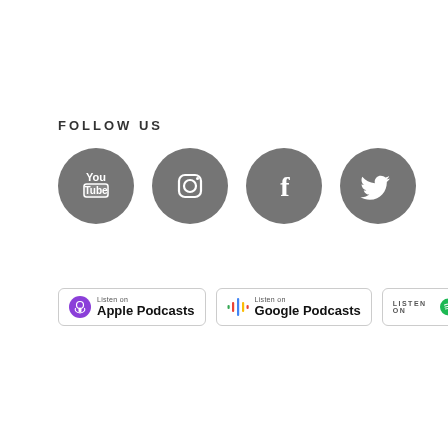FOLLOW US
[Figure (infographic): Four social media icons in dark gray circles: YouTube, Instagram, Facebook, Twitter]
[Figure (infographic): Three podcast platform badges: Listen on Apple Podcasts, Listen on Google Podcasts, Listen on Spotify]